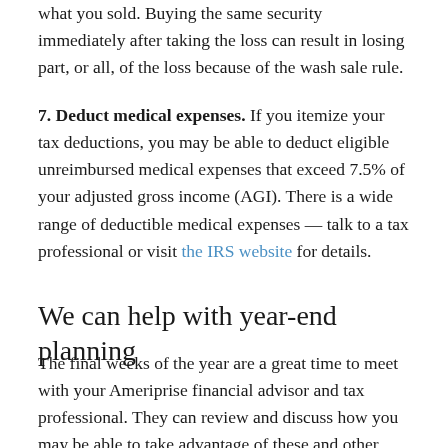what you sold. Buying the same security immediately after taking the loss can result in losing part, or all, of the loss because of the wash sale rule.
7. Deduct medical expenses. If you itemize your tax deductions, you may be able to deduct eligible unreimbursed medical expenses that exceed 7.5% of your adjusted gross income (AGI). There is a wide range of deductible medical expenses — talk to a tax professional or visit the IRS website for details.
We can help with year-end planning
The final weeks of the year are a great time to meet with your Ameriprise financial advisor and tax professional. They can review and discuss how you may be able to take advantage of these and other tax-